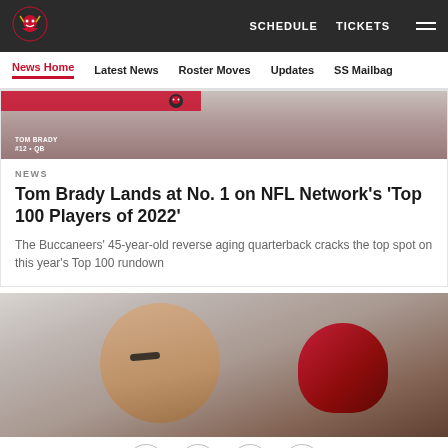Tampa Bay Buccaneers navigation: SCHEDULE | TICKETS
News Home | Latest News | Roster Moves | Updates | SS Mailbag
[Figure (photo): Tom Brady #12 QB cropped hero image with Buccaneers flag]
NEWS
Tom Brady Lands at No. 1 on NFL Network's 'Top 100 Players of 2022'
The Buccaneers' 45-year-old reverse aging quarterback cracks the top spot on this year's Top 100 rundown
[Figure (photo): Tom Brady holding Buccaneers helmet, looking down]
Social sharing icons: Facebook, Twitter, Email, Link